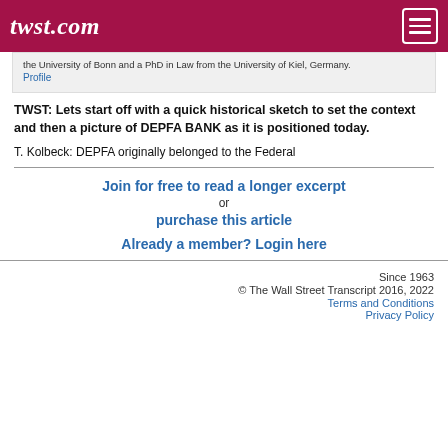twst.com
the University of Bonn and a PhD in Law from the University of Kiel, Germany.
Profile
TWST: Lets start off with a quick historical sketch to set the context and then a picture of DEPFA BANK as it is positioned today.
T. Kolbeck: DEPFA originally belonged to the Federal
Join for free to read a longer excerpt
or
purchase this article
Already a member? Login here
Since 1963
© The Wall Street Transcript 2016, 2022
Terms and Conditions
Privacy Policy